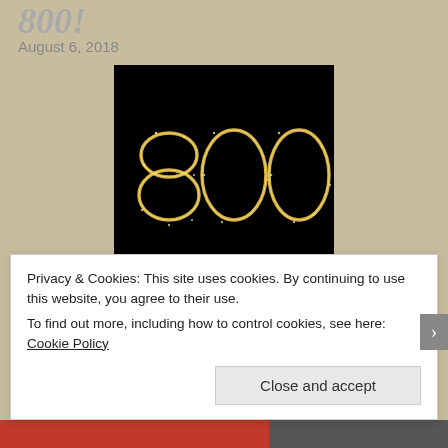800!
August 6, 2018
[Figure (photo): Photo of the number '800' written in sparkler light against a black background]
Considering I am always genuinely shocked whenever I
Privacy & Cookies: This site uses cookies. By continuing to use this website, you agree to their use.
To find out more, including how to control cookies, see here: Cookie Policy
Close and accept